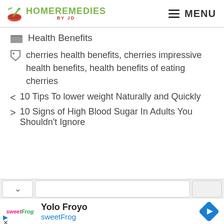HOME REMEDIES BY JD — MENU
Health Benefits
cherries health benefits, cherries impressive health benefits, health benefits of eating cherries
< 10 Tips To lower weight Naturally and Quickly
> 10 Signs of High Blood Sugar In Adults You Shouldn't Ignore
Yolo Froyo sweetFrog